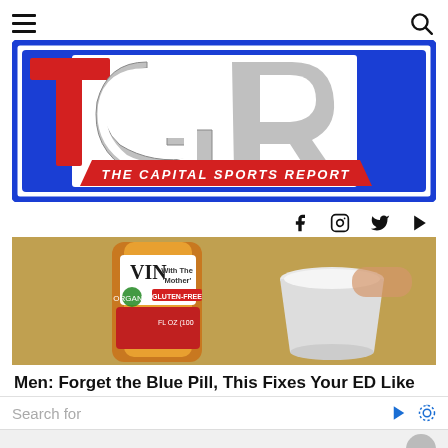[Figure (logo): The Capital Sports Report logo — TSR letters in blue and red with 'THE CAPITAL SPORTS REPORT' text on a blue-bordered white background]
[Figure (photo): Close-up photo of an apple cider vinegar bottle with 'With The Mother', 'Gluten-Free' label and a white cup next to it]
Men: Forget the Blue Pill, This Fixes Your ED Like
Search for